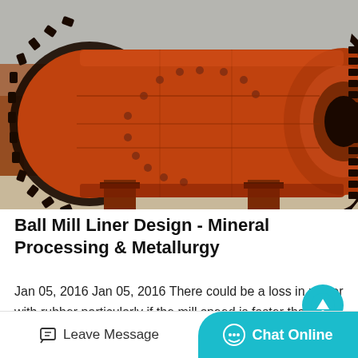[Figure (photo): Large orange industrial ball mill machine with gear ring, photographed outdoors in what appears to be a manufacturing or mining facility. Several ball mills visible in the background.]
Ball Mill Liner Design - Mineral Processing & Metallurgy
Jan 05, 2016 Jan 05, 2016 There could be a loss in power with rubber particularly if the mill speed is faster than about 72% of critical speed, and the ball size is larger than 75 mm. Because of th
Leave Message   Chat Online